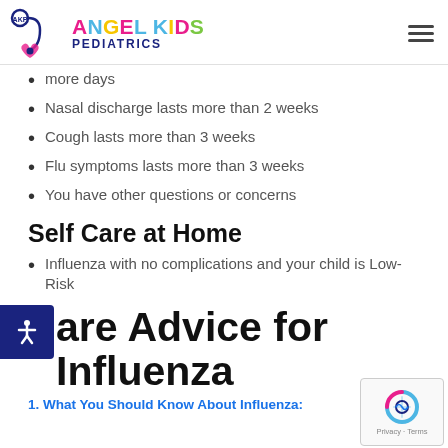Angel Kids Pediatrics
more days
Nasal discharge lasts more than 2 weeks
Cough lasts more than 3 weeks
Flu symptoms lasts more than 3 weeks
You have other questions or concerns
Self Care at Home
Influenza with no complications and your child is Low-Risk
are Advice for Influenza
1. What You Should Know About Influenza: